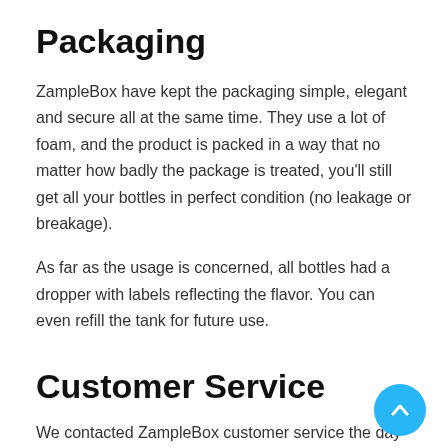Packaging
ZampleBox have kept the packaging simple, elegant and secure all at the same time. They use a lot of foam, and the product is packed in a way that no matter how badly the package is treated, you'll still get all your bottles in perfect condition (no leakage or breakage).
As far as the usage is concerned, all bottles had a dropper with labels reflecting the flavor. You can even refill the tank for future use.
Customer Service
We contacted ZampleBox customer service the day after